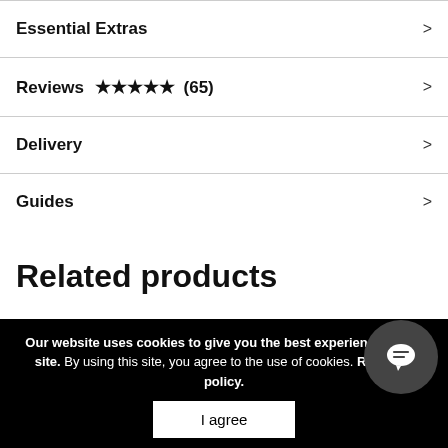Essential Extras
Reviews ★★★★★ (65)
Delivery
Guides
Related products
Our website uses cookies to give you the experience of our site. By using this site, you agree to the use of cookies. Read our policy.
I agree